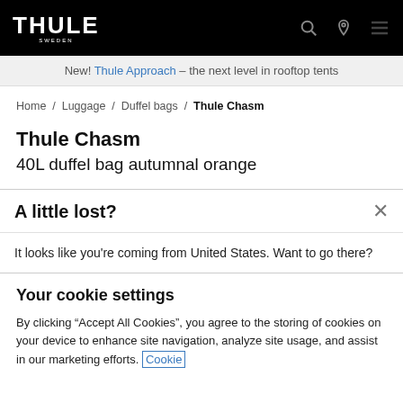THULE SWEDEN — header navigation with search, location, and menu icons
New! Thule Approach – the next level in rooftop tents
Home / Luggage / Duffel bags / Thule Chasm
Thule Chasm
40L duffel bag autumnal orange
A little lost?
It looks like you're coming from United States. Want to go there?
Your cookie settings
By clicking "Accept All Cookies", you agree to the storing of cookies on your device to enhance site navigation, analyze site usage, and assist in our marketing efforts. Cookie